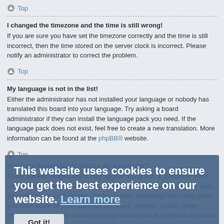Top
I changed the timezone and the time is still wrong!
If you are sure you have set the timezone correctly and the time is still incorrect, then the time stored on the server clock is incorrect. Please notify an administrator to correct the problem.
Top
My language is not in the list!
Either the administrator has not installed your language or nobody has translated this board into your language. Try asking a board administrator if they can install the language pack you need. If the language pack does not exist, feel free to create a new translation. More information can be found at the phpBB® website.
Top
What are these images next to my username?
There are two images which may appear along with a username when viewing posts. One of them may be an image associated with your rank, generally in the form of stars, blocks or dots, indicating how many posts you have made or your status on the board. Another, usually larger, image is known as an avatar and is generally unique or personal to each user.
This website uses cookies to ensure you get the best experience on our website. Learn more
Got it!